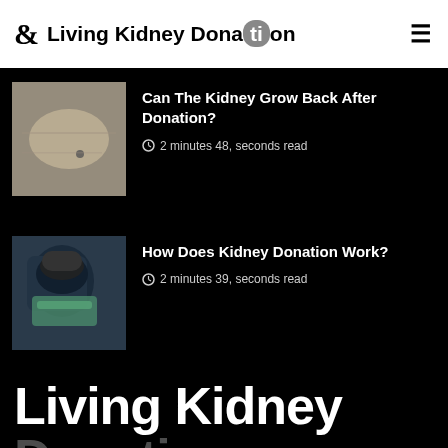& Living Kidney Donation ≡
[Figure (photo): Medical image showing skin or tissue, used as thumbnail for kidney donation article]
Can The Kidney Grow Back After Donation?
2 minutes 48, seconds read
[Figure (photo): Photo of a surgeon or medical professional wearing mask and cap, in an operating room setting]
How Does Kidney Donation Work?
2 minutes 39, seconds read
Living Kidney
Donation
This website uses cookies to ensure you get the best experience on our website. Cookies Policy.
OK !